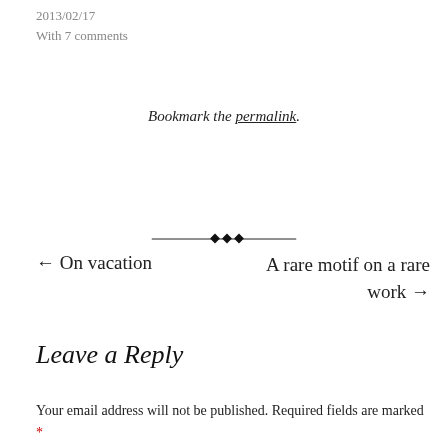2013/02/17
With 7 comments
Bookmark the permalink.
[Figure (illustration): Decorative horizontal divider with diamond/dot ornament in the center]
← On vacation
A rare motif on a rare work →
Leave a Reply
Your email address will not be published. Required fields are marked *